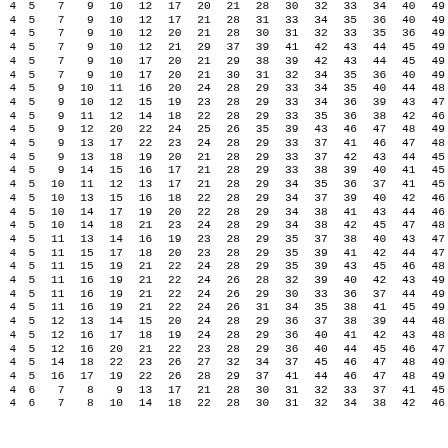| 4 | 5 | 7 | 9 | 10 | 12 | 17 | 20 | 21 | 28 | 30 | 32 | 33 | 34 | 40 | 49 |
| 4 | 5 | 7 | 9 | 10 | 12 | 17 | 21 | 28 | 31 | 33 | 34 | 35 | 36 | 40 | 49 |
| 4 | 5 | 7 | 9 | 10 | 12 | 20 | 21 | 28 | 30 | 31 | 32 | 33 | 35 | 36 | 49 |
| 4 | 5 | 7 | 9 | 10 | 12 | 21 | 29 | 37 | 39 | 41 | 42 | 43 | 44 | 45 | 49 |
| 4 | 5 | 7 | 9 | 10 | 17 | 20 | 21 | 29 | 38 | 39 | 42 | 43 | 44 | 45 | 49 |
| 4 | 5 | 7 | 9 | 10 | 17 | 20 | 21 | 30 | 31 | 32 | 34 | 35 | 36 | 40 | 49 |
| 4 | 5 | 9 | 10 | 11 | 16 | 20 | 24 | 28 | 29 | 33 | 34 | 35 | 40 | 44 | 48 |
| 4 | 5 | 9 | 10 | 12 | 15 | 19 | 23 | 28 | 29 | 33 | 34 | 36 | 39 | 43 | 47 |
| 4 | 5 | 9 | 11 | 12 | 14 | 18 | 22 | 28 | 29 | 33 | 35 | 36 | 38 | 42 | 46 |
| 4 | 5 | 9 | 12 | 20 | 22 | 24 | 25 | 26 | 35 | 39 | 43 | 46 | 47 | 48 | 49 |
| 4 | 5 | 9 | 13 | 17 | 22 | 23 | 24 | 28 | 29 | 33 | 37 | 41 | 46 | 47 | 48 |
| 4 | 5 | 9 | 13 | 18 | 19 | 20 | 21 | 28 | 29 | 33 | 37 | 42 | 43 | 44 | 45 |
| 4 | 5 | 9 | 14 | 15 | 16 | 17 | 21 | 28 | 29 | 33 | 38 | 39 | 40 | 41 | 45 |
| 4 | 5 | 10 | 11 | 12 | 13 | 17 | 21 | 28 | 29 | 34 | 35 | 36 | 37 | 41 | 45 |
| 4 | 5 | 10 | 13 | 15 | 16 | 18 | 22 | 28 | 29 | 34 | 37 | 39 | 40 | 42 | 46 |
| 4 | 5 | 10 | 14 | 17 | 19 | 20 | 22 | 28 | 29 | 34 | 38 | 41 | 43 | 44 | 46 |
| 4 | 5 | 10 | 14 | 18 | 21 | 23 | 24 | 28 | 29 | 34 | 38 | 42 | 45 | 47 | 48 |
| 4 | 5 | 11 | 13 | 14 | 16 | 19 | 23 | 28 | 29 | 35 | 37 | 38 | 40 | 43 | 47 |
| 4 | 5 | 11 | 15 | 17 | 18 | 20 | 23 | 28 | 29 | 35 | 39 | 41 | 42 | 44 | 47 |
| 4 | 5 | 11 | 15 | 19 | 21 | 22 | 24 | 28 | 29 | 35 | 39 | 43 | 45 | 46 | 48 |
| 4 | 5 | 11 | 16 | 19 | 21 | 22 | 24 | 26 | 28 | 32 | 39 | 40 | 42 | 43 | 49 |
| 4 | 5 | 11 | 16 | 19 | 21 | 22 | 24 | 26 | 29 | 30 | 33 | 36 | 37 | 44 | 49 |
| 4 | 5 | 11 | 16 | 19 | 21 | 22 | 24 | 26 | 31 | 34 | 35 | 38 | 41 | 45 | 49 |
| 4 | 5 | 12 | 13 | 14 | 15 | 20 | 24 | 28 | 29 | 36 | 37 | 38 | 39 | 44 | 48 |
| 4 | 5 | 12 | 16 | 17 | 18 | 19 | 24 | 28 | 29 | 36 | 40 | 41 | 42 | 43 | 48 |
| 4 | 5 | 12 | 16 | 20 | 21 | 22 | 23 | 28 | 29 | 36 | 40 | 44 | 45 | 46 | 47 |
| 4 | 5 | 14 | 18 | 22 | 23 | 26 | 27 | 32 | 34 | 37 | 45 | 46 | 47 | 48 | 49 |
| 4 | 5 | 16 | 17 | 19 | 22 | 26 | 28 | 29 | 37 | 41 | 44 | 46 | 47 | 48 | 49 |
| 4 | 6 | 7 | 8 | 9 | 13 | 17 | 21 | 28 | 30 | 31 | 32 | 33 | 37 | 41 | 45 |
| 4 | 6 | 7 | 8 | 10 | 14 | 18 | 22 | 28 | 30 | 31 | 32 | 34 | 38 | 42 | 46 |